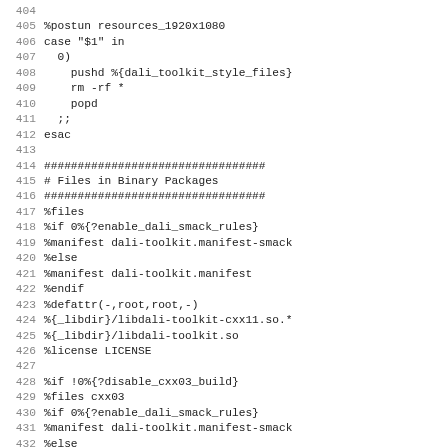Code listing lines 404-435, RPM spec file fragment for dali-toolkit package
404
405 %postun resources_1920x1080
406 case "$1" in
407   0)
408     pushd %{dali_toolkit_style_files}
409     rm -rf *
410     popd
411   ;;
412 esac
413
414 #################################
415 # Files in Binary Packages
416 #################################
417 %files
418 %if 0%{?enable_dali_smack_rules}
419 %manifest dali-toolkit.manifest-smack
420 %else
421 %manifest dali-toolkit.manifest
422 %endif
423 %defattr(-,root,root,-)
424 %{_libdir}/libdali-toolkit-cxx11.so.*
425 %{_libdir}/libdali-toolkit.so
426 %license LICENSE
427
428 %if !0%{?disable_cxx03_build}
429 %files cxx03
430 %if 0%{?enable_dali_smack_rules}
431 %manifest dali-toolkit.manifest-smack
432 %else
433 %manifest dali-toolkit.manifest
434 %endif
435 %defattr(-,root,root,-)